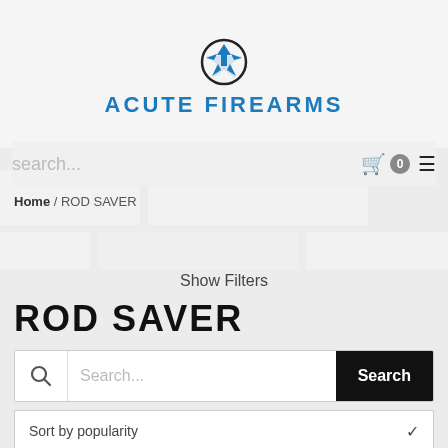[Figure (logo): Acute Firearms logo — a star/arrow geometric icon in blue and black above the text ACUTE FIREARMS in bold blue uppercase letters]
search...
🛒 0 ≡
Home / ROD SAVER
Show Filters
ROD SAVER
Search...
Sort by popularity